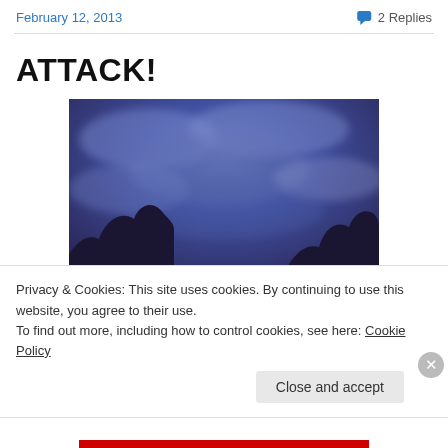February 12, 2013    2 Replies
ATTACK!
[Figure (photo): Dark blue-purple stormy sky with silhouetted trees at the bottom]
Privacy & Cookies: This site uses cookies. By continuing to use this website, you agree to their use.
To find out more, including how to control cookies, see here: Cookie Policy
Close and accept